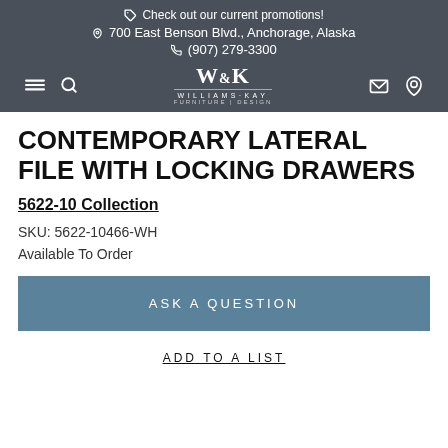Check out our current promotions! 700 East Benson Blvd., Anchorage, Alaska (907) 279-3300 W&K WILLIAMS·KAY FURNITURE | DESIGN
CONTEMPORARY LATERAL FILE WITH LOCKING DRAWERS
5622-10 Collection
SKU: 5622-10466-WH
Available To Order
ASK A QUESTION
ADD TO A LIST